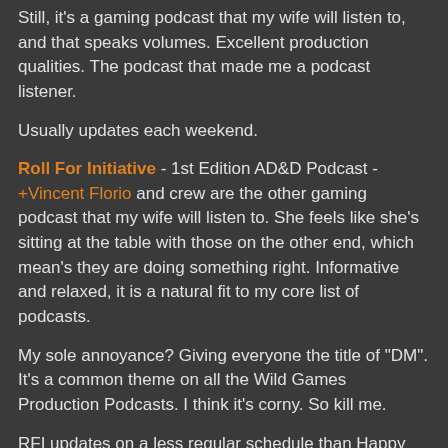Still, it's a gaming podcast that my wife will listen to, and that speaks volumes. Excellent production qualities. The podcast that made me a podcast listener.
Usually updates each weekend.
Roll For Initiative - 1st Edition AD&D Podcast - +Vincent Florio and crew are the other gaming podcast that my wife will listen to. She feels like she's sitting at the table with those on the other end, which mean's they are doing something right. Informative and relaxed, it is a natural fit to my core list of podcasts.
My sole annoyance? Giving everyone the title of "DM". It's a common theme on all the Wild Games Production Podcasts. I think it's corny. So kill me.
RFI updates on a less regular schedule than Happy Jacks, which causes me to refresh my podcast app on a near daily basis to ensure I don't miss an episode. Actually, maybe that is a good thing ;)